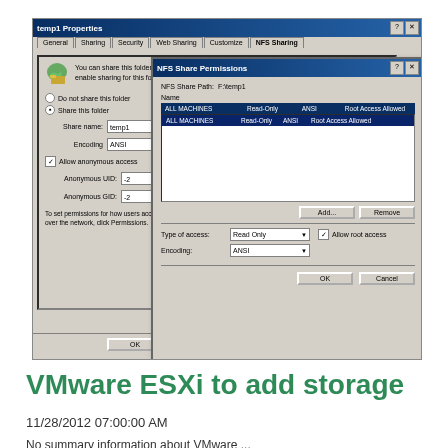[Figure (screenshot): Windows XP-style dialog showing 'temp1 Properties' with NFS Sharing tab active, and an overlapping 'NFS Share Permissions' dialog. The permissions dialog shows ALL MACHINES entry with Read-Only access, ANSI encoding, and Root Access Allowed. Bottom has Type of access: Read Only, Encoding: ANSI, Allow root access checkbox, OK and Cancel buttons.]
VMware ESXi to add storage
11/28/2012 07:00:00 AM
No summary information about VMware...